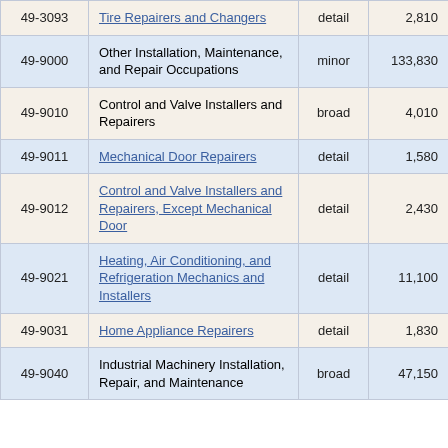| Code | Occupation | Level | Employment | (truncated) |
| --- | --- | --- | --- | --- |
| 49-3093 | Tire Repairers and Changers | detail | 2,810 | 9… |
| 49-9000 | Other Installation, Maintenance, and Repair Occupations | minor | 133,830 | 2… |
| 49-9010 | Control and Valve Installers and Repairers | broad | 4,010 | 11… |
| 49-9011 | Mechanical Door Repairers | detail | 1,580 | 16… |
| 49-9012 | Control and Valve Installers and Repairers, Except Mechanical Door | detail | 2,430 | 16… |
| 49-9021 | Heating, Air Conditioning, and Refrigeration Mechanics and Installers | detail | 11,100 | 7… |
| 49-9031 | Home Appliance Repairers | detail | 1,830 | 14… |
| 49-9040 | Industrial Machinery Installation, Repair, and Maintenance | broad | 47,150 | 4… |